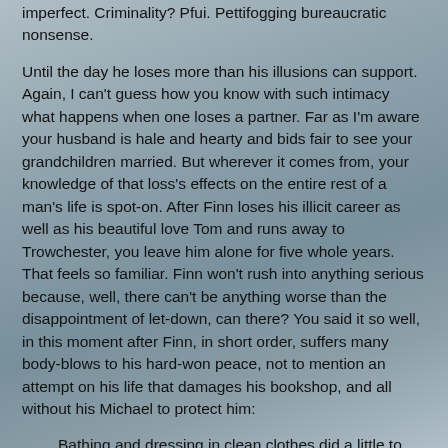imperfect. Criminality? Pfui. Pettifogging bureaucratic nonsense.
Until the day he loses more than his illusions can support. Again, I can't guess how you know with such intimacy what happens when one loses a partner. Far as I'm aware your husband is hale and hearty and bids fair to see your grandchildren married. But wherever it comes from, your knowledge of that loss's effects on the entire rest of a man's life is spot-on. After Finn loses his illicit career as well as his beautiful love Tom and runs away to Trowchester, you leave him alone for five whole years. That feels so familiar. Finn won't rush into anything serious because, well, there can't be anything worse than the disappointment of let-down, can there? You said it so well, in this moment after Finn, in short order, suffers many body-blows to his hard-won peace, not to mention an attempt on his life that damages his bookshop, and all without his Michael to protect him:
Bathing and dressing in clean clothes did a little to alleviate his mood, but not even eating bacon and eggs, toast and marmalade and coffee did